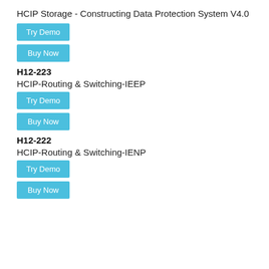HCIP Storage - Constructing Data Protection System V4.0
Try Demo
Buy Now
H12-223
HCIP-Routing & Switching-IEEP
Try Demo
Buy Now
H12-222
HCIP-Routing & Switching-IENP
Try Demo
Buy Now